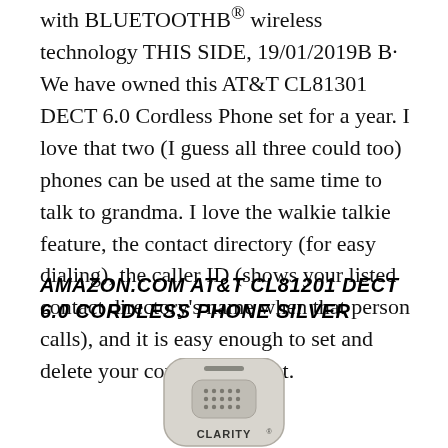with BLUETOOTHB® wireless technology THIS SIDE, 19/01/2019B B· We have owned this AT&T CL81301 DECT 6.0 Cordless Phone set for a year. I love that two (I guess all three could too) phones can be used at the same time to talk to grandma. I love the walkie talkie feature, the contact directory (for easy dialing), the caller ID (shows your listed contact directory's name when that person calls), and it is easy enough to set and delete your contacts without.
AMAZON.COM AT&T CL81201 DECT 6.0 CORDLESS PHONE SILVER
[Figure (photo): A Clarity branded cordless phone handset shown from the front, light grey/silver color, with speaker grille dots visible and the word CLARITY at the bottom.]